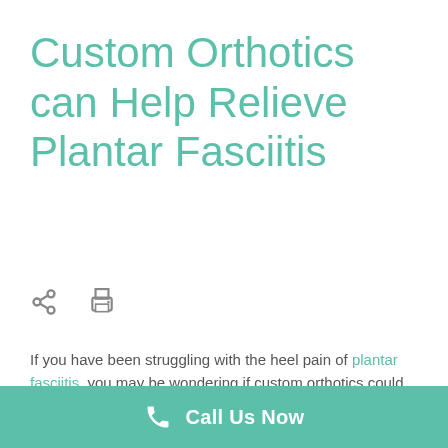Custom Orthotics can Help Relieve Plantar Fasciitis
[Figure (infographic): Share icon and print icon row]
If you have been struggling with the heel pain of plantar fasciitis, you may be wondering if custom orthotics could provide relief. Let’s look at some of the benefits of having a foot scan and determining what orthotics may be right for you.
What is Plantar Fasciitis?
Call Us Now